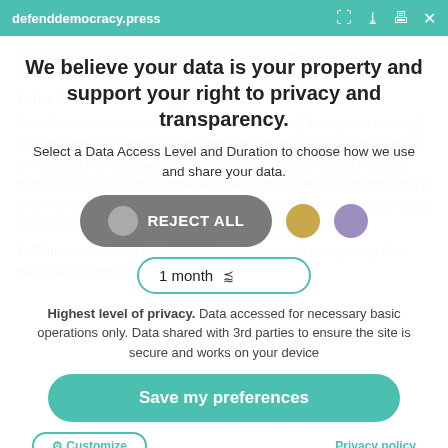defenddemocracy.press
Reflecting on the current crisis in the capitalist system, Samir Amin wonders whether China would be attempted to try to cure the system...
1. The financial facets of globalisation
Globalisation has three facets, which consist of: (i) free global trade; (ii) free international capital real investments; (ii) free financial transactions on financial international markets (transfers of liquid capital including transactions on foreign exchanges). Stressing all these characteristics is a form of actual reality. This set of assumptions hides some actual major realities (see later).
1. China's reforms as of the year 1978 started with the opening of its economic system of production to the rule of m...
We believe your data is your property and support your right to privacy and transparency.
Select a Data Access Level and Duration to choose how we use and share your data.
REJECT ALL
1 month
Highest level of privacy. Data accessed for necessary basic operations only. Data shared with 3rd parties to ensure the site is secure and works on your device
Save my preferences
Customize
Privacy policy